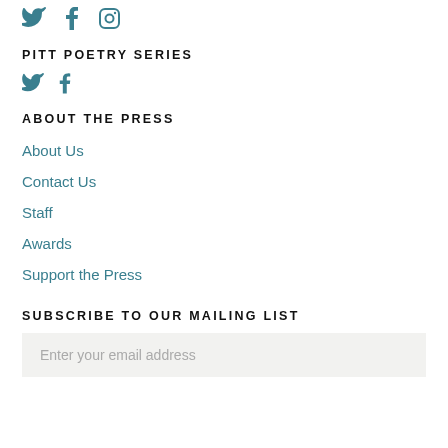[Figure (other): Social media icons: Twitter, Facebook, Instagram in teal color]
PITT POETRY SERIES
[Figure (other): Social media icons: Twitter, Facebook in teal color]
ABOUT THE PRESS
About Us
Contact Us
Staff
Awards
Support the Press
SUBSCRIBE TO OUR MAILING LIST
Enter your email address